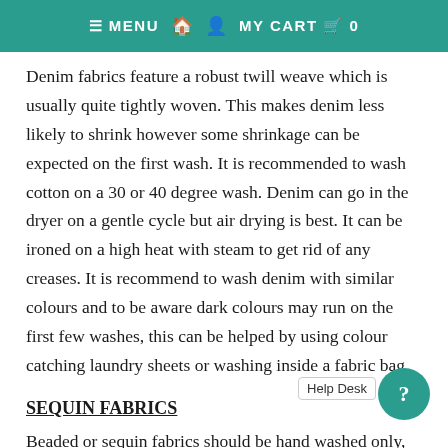≡ MENU  🏠  👤  MY CART  🛒  0
Denim fabrics feature a robust twill weave which is usually quite tightly woven. This makes denim less likely to shrink however some shrinkage can be expected on the first wash. It is recommended to wash cotton on a 30 or 40 degree wash. Denim can go in the dryer on a gentle cycle but air drying is best. It can be ironed on a high heat with steam to get rid of any creases. It is recommend to wash denim with similar colours and to be aware dark colours may run on the first few washes, this can be helped by using colour catching laundry sheets or washing inside a fabric bag.
SEQUIN FABRICS
Beaded or sequin fabrics should be hand washed only, this is to avoid loosing any embellishments in the wash or causing damage to both the washing machine and